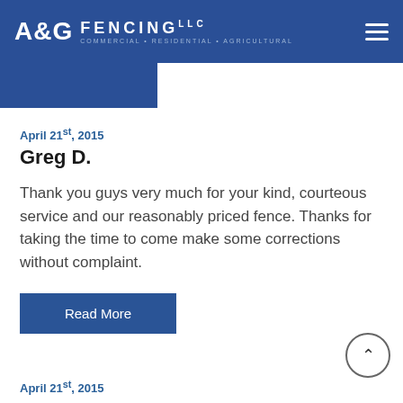A&G FENCING LLC - COMMERCIAL + RESIDENTIAL + AGRICULTURAL
April 21st, 2015
Greg D.
Thank you guys very much for your kind, courteous service and our reasonably priced fence. Thanks for taking the time to come make some corrections without complaint.
Read More
April 21st, 2015